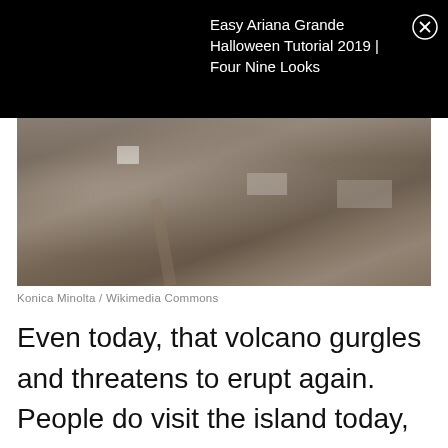Easy Ariana Grande Halloween Tutorial 2019 | Four Nine Looks
[Figure (photo): Aerial view of a town devastated by volcanic ash fall, showing buildings and landscape covered in grey ash with a winding dirt road through the settlement.]
Konica Minolta / Wikimedia Commons
Even today, that volcano gurgles and threatens to erupt again. People do visit the island today, but the town of